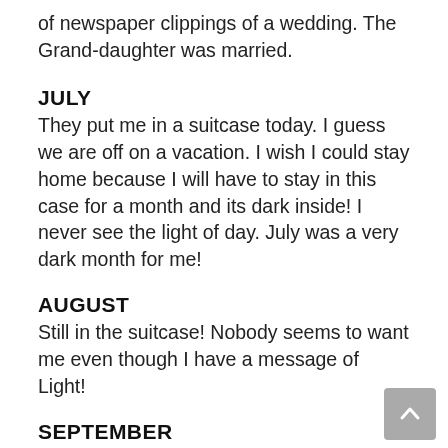of newspaper clippings of a wedding. The Grand-daughter was married.
JULY
They put me in a suitcase today. I guess we are off on a vacation. I wish I could stay home because I will have to stay in this case for a month and its dark inside! I never see the light of day. July was a very dark month for me!
AUGUST
Still in the suitcase! Nobody seems to want me even though I have a message of Light!
SEPTEMBER
Back in my place where I rest seldom to be disturbed! I have a lot of company...